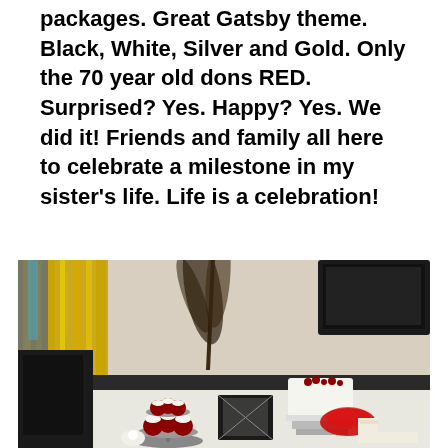packages. Great Gatsby theme. Black, White, Silver and Gold. Only the 70 year old dons RED. Surprised? Yes. Happy? Yes. We did it! Friends and family all here to celebrate a milestone in my sister's life. Life is a celebration!
[Figure (photo): A dessert table decorated in a Great Gatsby theme with gold tinsel curtains in the background, a tiered cupcake stand with red velvet cupcakes, a white cake with red berries on a stand, a red gelatin mold, cookies/pastries on trays, and a decorative black and white box. A tall feathered plant centerpiece is also visible.]